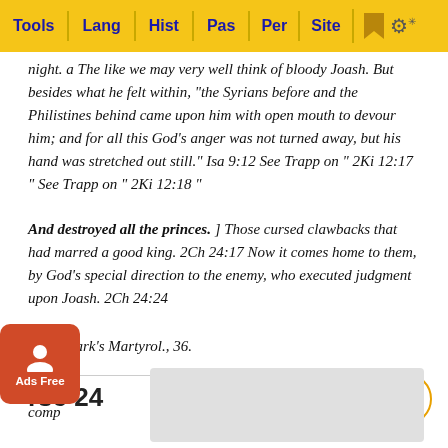Tools | Lang | Hist | Pas | Per | Site
night. a The like we may very well think of bloody Joash. But besides what he felt within, "the Syrians before and the Philistines behind came upon him with open mouth to devour him; and for all this God’s anger was not turned away, but his hand was stretched out still." Isa 9:12 See Trapp on " 2Ki 12:17 " See Trapp on " 2Ki 12:18 "
And destroyed all the princes. ] Those cursed clawbacks that had marred a good king. 2Ch 24:17 Now it comes home to them, by God’s special direction to the enemy, who executed judgment upon Joash. 2Ch 24:24
a Mr Clark’s Martyrol., 36.
Verse 24
2Ch 2... ll comp... ost